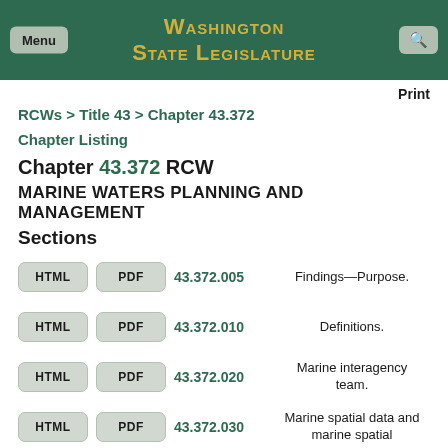Washington State Legislature
Print
RCWs > Title 43 > Chapter 43.372
Chapter Listing
Chapter 43.372 RCW
MARINE WATERS PLANNING AND MANAGEMENT
Sections
HTML PDF 43.372.005 Findings—Purpose.
HTML PDF 43.372.010 Definitions.
HTML PDF 43.372.020 Marine interagency team.
HTML PDF 43.372.030 Marine spatial data and marine spatial